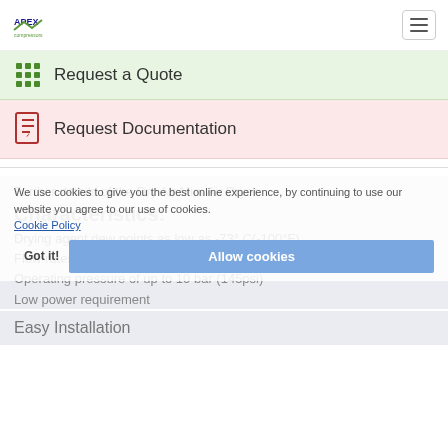APEX | Request a Quote | Request Documentation
Request a Quote
Request Documentation
Further details of the Dry Air Mini Air Dryer
Characteristics:
Drying agent dew points as low as -73° C(-100°F)
Flow rates up to 3 cubic meters/hour
Operating pressure of up to 10 bar (145psi)
Low power requirement
We use cookies to give you the best online experience, by continuing to use our website you agree to our use of cookies. Cookie Policy
Easy Installation